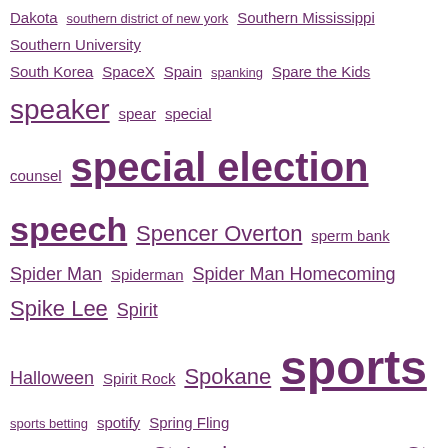Dakota southern district of new york Southern Mississippi Southern University South Korea SpaceX Spain spanking Spare the Kids speaker spear special counsel special election speech Spencer Overton sperm bank Spider Man Spiderman Spider Man Homecoming Spike Lee Spirit Halloween Spirit Rock Spokane sports sports betting spotify Spring Fling Spring Valley spying St. Louis St. Louis American St. Louis Post-Dispatch stable genius Stacey Abrams Stacey Evans Stacey Patton staff stand your ground Starbucks Star of David Star Spangled Banner racist Star Wars Staten Island State of the Union state visit Steele Dossier stent Stephanie Bigbee Fleming Stephanie Rawlings-Blake Stephanie Ruhle Stephanie Tubbs Jones Steph Curry Stephen A. Smith Stephen Bannon Stephen Colbert stephen ross Stephen Zappala Stephon Clark Steve Bannon Steve Cohen Steve Forbes Steve Gleason Steve Harvey steve king Steve Kornacki Steve LaTourette Steve Malzberg Steve McMahon Steve Munisteri Steven Bloom Steven Mnuchin Steve Scalise Steve Schmidt Steve Stoute Sting stock market Stockton Jaywalking stop and frisk